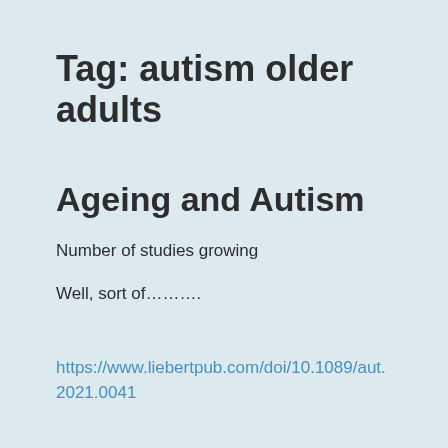Tag: autism older adults
Ageing and Autism
Number of studies growing
Well, sort of………..
https://www.liebertpub.com/doi/10.1089/aut.2021.0041
Start by reading the article here. Since 2012 the number of studies about autism has grown. We are being studied